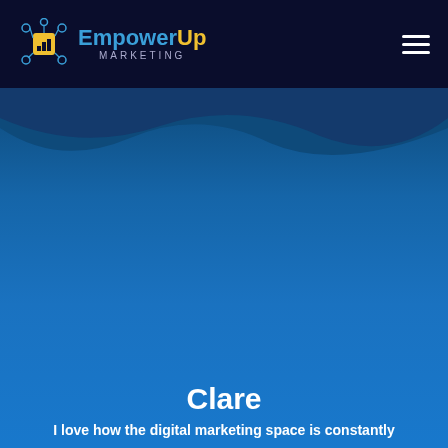EmpowerUp Marketing
[Figure (illustration): Blue gradient background with wave shape at the top, forming a decorative hero section]
Clare
I love how the digital marketing space is constantly